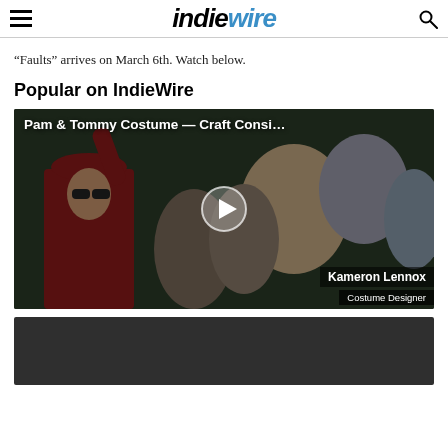IndieWire
“Faults” arrives on March 6th. Watch below.
Popular on IndieWire
[Figure (screenshot): Video thumbnail showing a person in a red coat and hat with arm raised in a crowd. Title overlay reads 'Pam & Tommy Costume — Craft Consi...' with a play button in the center. Lower right shows name tag 'Kameron Lennox' and title 'Costume Designer'.]
[Figure (screenshot): Dark gray/black video thumbnail, partially visible at bottom of page.]